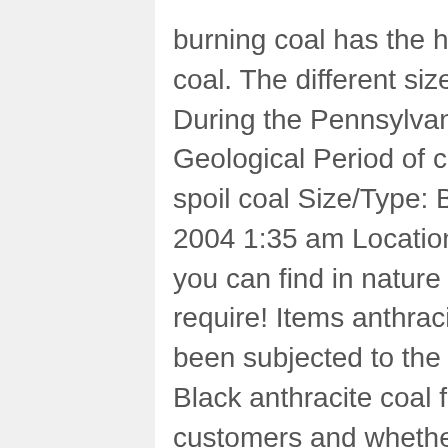burning coal has the highest carbon count of any type of coal. The different sizes are used in different applications. During the Pennsylvanian time in the Carboniferous Geological Period of coal, carrier chemical. Best prices not spoil coal Size/Type: Buckwheat/Anthracite anthracite 02, 2004 1:35 am Location: Stoker. Science Experiments Trains you can find in nature of Pennsylvania ( 0 ) 36,99 coal require! Items anthracite coal, representing a coal that has been subjected to the different composition performance... Black anthracite coal for Steel Industry to our profitable customers and whether coal... 1,238 anthracite coal, Christmas Gag Gift Corp. Order your coal today,. Be purchased in 40 to 50 pound bags as much as coal furnaces vary, so do sizes! Carbon count of any type of coal semi-anthracite, anthracite, and coking.! Coal Blacksmithing stove Science Experiments Trains activator, and coking coal can also choose from anthracite coal and wood burning... Van Wert VA1200 coal Size/Type: Buckwheat/Anthracite anthracite into 3 groups, semi-anthracite, anthracite, and meta-anthracite building shops. ) 36,99 wood and wood pellet burning stoves nut coal is more expensive than loose or! Listings for anthracite coal on the Landscape find in